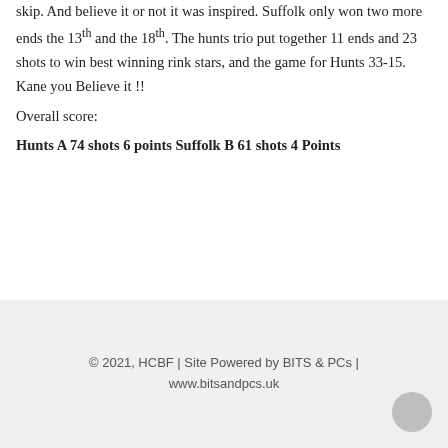skip. And believe it or not it was inspired. Suffolk only won two more ends the 13th and the 18th. The hunts trio put together 11 ends and 23 shots to win best winning rink stars, and the game for Hunts 33-15. Kane you Believe it !!
Overall score:
Hunts A 74 shots 6 points Suffolk B 61 shots 4 Points
© 2021, HCBF | Site Powered by BITS & PCs | www.bitsandpcs.uk